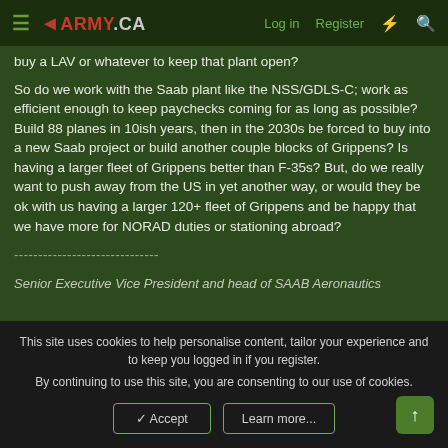≡ ◄ARMY.CA   Log in   Register   ⚡   🔍
buy a LAV or whatever to keep that plant open?
So do we work with the Saab plant like the NSS/GDLS-C; work as efficient enough to keep paychecks coming for as long as possible? Build 88 planes in 10ish years, then in the 2030s be forced to buy into a new Saab project or build another couple blocks of Grippens? Is having a larger fleet of Grippens better than F-35s? But, do we really want to push away from the US in yet another way, or would they be ok with us having a larger 120+ fleet of Grippens and be happy that we have more for NORAD duties or stationing abroad?
------------------------------
Senior Executive Vice President and head of SAAB Aeronautics
This site uses cookies to help personalise content, tailor your experience and to keep you logged in if you register.
By continuing to use this site, you are consenting to our use of cookies.